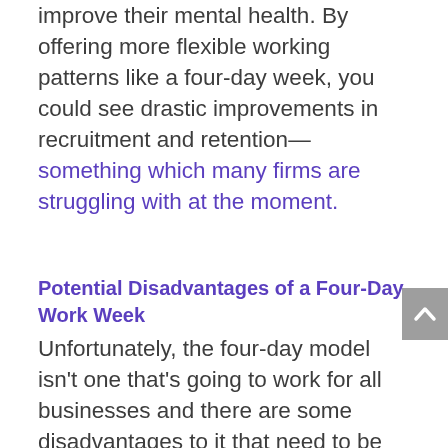improve their mental health. By offering more flexible working patterns like a four-day week, you could see drastic improvements in recruitment and retention— something which many firms are struggling with at the moment.
Potential Disadvantages of a Four-Day Work Week
Unfortunately, the four-day model isn't one that's going to work for all businesses and there are some disadvantages to it that need to be given careful consideration by employers that are considering a shift